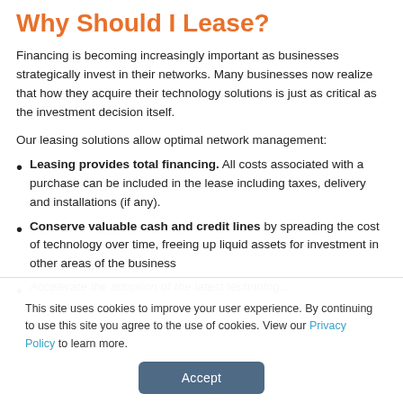Why Should I Lease?
Financing is becoming increasingly important as businesses strategically invest in their networks. Many businesses now realize that how they acquire their technology solutions is just as critical as the investment decision itself.
Our leasing solutions allow optimal network management:
Leasing provides total financing. All costs associated with a purchase can be included in the lease including taxes, delivery and installations (if any).
Conserve valuable cash and credit lines by spreading the cost of technology over time, freeing up liquid assets for investment in other areas of the business
Accelerate the adoption of the latest technology...
This site uses cookies to improve your user experience. By continuing to use this site you agree to the use of cookies. View our Privacy Policy to learn more.